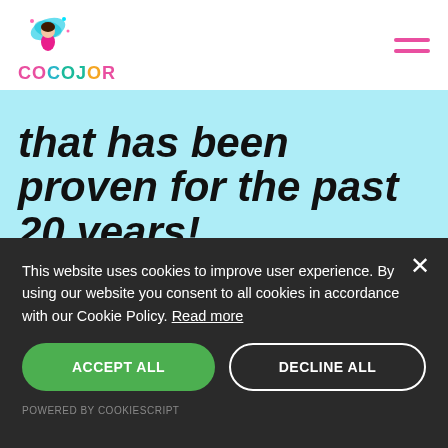[Figure (logo): CocoJor fairy logo with colorful text]
that has been proven for the past 20 years!.
Individual Course Pricing
This website uses cookies to improve user experience. By using our website you consent to all cookies in accordance with our Cookie Policy. Read more
ACCEPT ALL
DECLINE ALL
POWERED BY COOKIESCRIPT